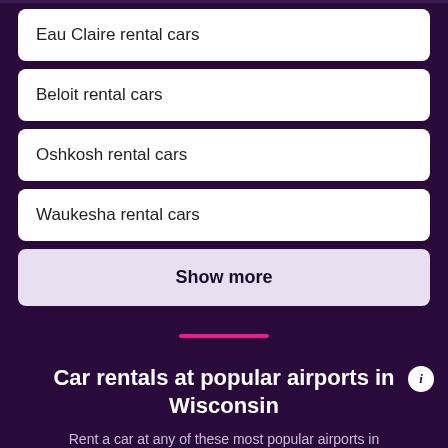Eau Claire rental cars
Beloit rental cars
Oshkosh rental cars
Waukesha rental cars
Show more
Car rentals at popular airports in Wisconsin
Rent a car at any of these most popular airports in Wisconsin